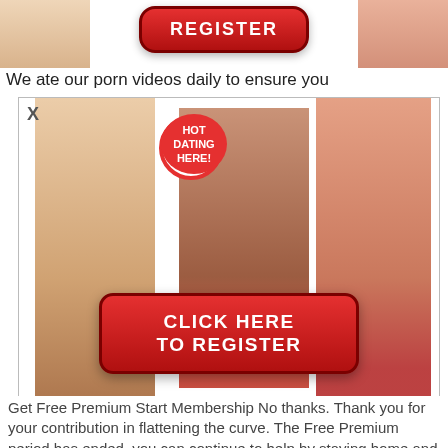[Figure (photo): Top banner with register button and partial figures on left and right]
We ate our porn videos daily to ensure you
[Figure (photo): Adult advertisement overlay with three women, 18+ badge, HOT DATING HERE badge, X close button, and CLICK HERE TO REGISTER red button]
Get Free Premium Start Membership No thanks. Thank you for your contribution in flattening the curve. The Free Premium period has ended, you can continue to help by staying home and enjoying more thanPremium Videos from more than studios. Get Free Premium No thanks